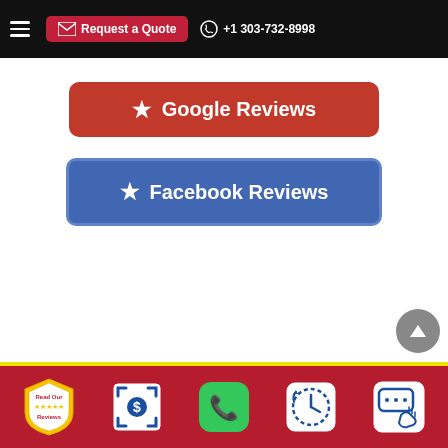[Figure (screenshot): Mobile website navigation bar with hamburger menu, red 'Request a Quote' button with envelope icon, and phone number +1 303-732-8998]
[Figure (screenshot): Red button with star icon labeled 'Google Reviews']
[Figure (screenshot): Blue button with star icon labeled 'Facebook Reviews']
[Figure (screenshot): Gray scroll-to-top arrow button]
[Figure (screenshot): Red bottom navigation bar with yellow top border containing icons: Read Our Reviews badge, dollar scan icon, green phone icon, clock icon, chat icon]